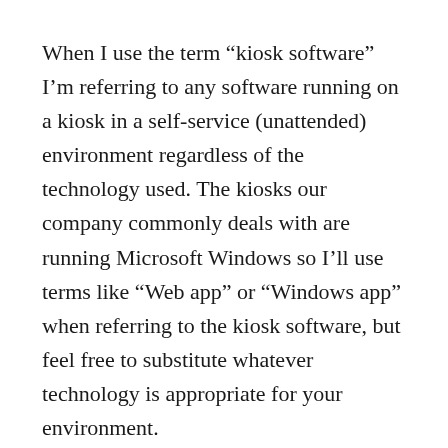When I use the term “kiosk software” I’m referring to any software running on a kiosk in a self-service (unattended) environment regardless of the technology used. The kiosks our company commonly deals with are running Microsoft Windows so I’ll use terms like “Web app” or “Windows app” when referring to the kiosk software, but feel free to substitute whatever technology is appropriate for your environment.
This first article in the series will cover the basic considerations you’ll have when getting started on your first kiosk software project and later articles I’ll get into more advanced topics